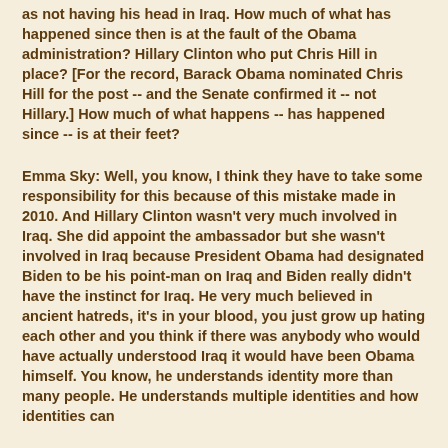as not having his head in Iraq.  How much of what has happened since then is at the fault of the Obama administration?  Hillary Clinton who put Chris Hill in place? [For the record, Barack Obama nominated Chris Hill for the post -- and the Senate confirmed it -- not Hillary.]  How much of what happens -- has happened since -- is at their feet?
Emma Sky:  Well, you know, I think they have to take some responsibility for this because of this mistake made in 2010.  And Hillary Clinton wasn't very much involved in Iraq.  She did appoint the ambassador but she wasn't involved in Iraq because President Obama had designated Biden to be his point-man on Iraq and Biden really didn't have the instinct for Iraq. He very much believed in ancient hatreds, it's in your blood, you just grow up hating each other and you think if there was anybody who would have actually understood Iraq it would have been Obama himself.  You know, he understands identity more than many people.  He understands multiple identities and how identities can change.  He understands the potential for what...